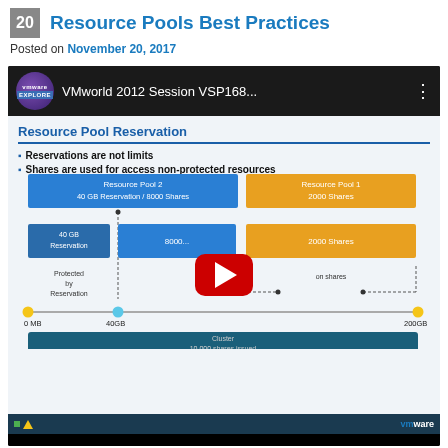20 Resource Pools Best Practices
Posted on November 20, 2017
[Figure (screenshot): VMware Explore YouTube video thumbnail showing a VMworld 2012 Session VSP168... slide about Resource Pool Reservation. The slide shows bullet points: Reservations are not limits; Shares are used for access non-protected resources. A diagram shows Resource Pool 2 (40 GB Reservation / 8000 Shares) and Resource Pool 1 (2000 Shares) with a timeline from 0 MB to 200GB with a marker at 40GB, and a Cluster bar showing 10,000 shares issued. A YouTube play button overlay is visible.]